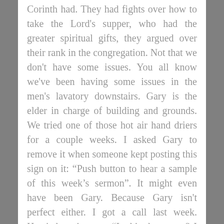Corinth had. They had fights over how to take the Lord's supper, who had the greater spiritual gifts, they argued over their rank in the congregation. Not that we don't have some issues. You all know we've been having some issues in the men's lavatory downstairs. Gary is the elder in charge of building and grounds. We tried one of those hot air hand driers for a couple weeks. I asked Gary to remove it when someone kept posting this sign on it: “Push button to hear a sample of this week’s sermon”. It might even have been Gary. Because Gary isn't perfect either. I got a call last week. Here's how it went: “Is this the pastor? I am. This is the IRS, can you help us with something? I'll try. Do you know a Gary Davidson? – that's what is coming…